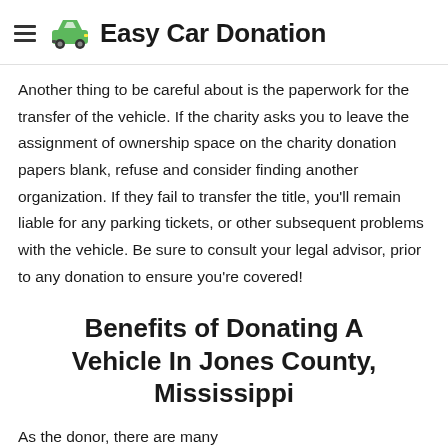Easy Car Donation
Another thing to be careful about is the paperwork for the transfer of the vehicle. If the charity asks you to leave the assignment of ownership space on the charity donation papers blank, refuse and consider finding another organization. If they fail to transfer the title, you'll remain liable for any parking tickets, or other subsequent problems with the vehicle. Be sure to consult your legal advisor, prior to any donation to ensure you're covered!
Benefits of Donating A Vehicle In Jones County, Mississippi
As the donor, there are many benefits...